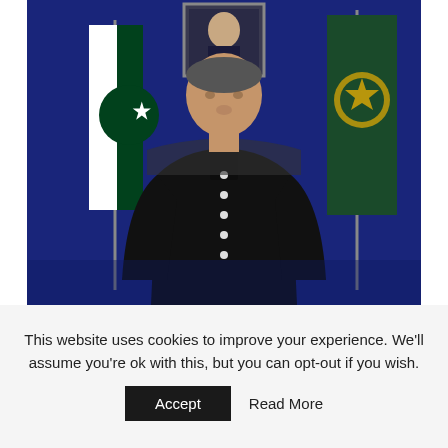[Figure (photo): A man in a black sherwani suit sits in a chair in front of a dark blue background. Behind him on the left is a Pakistan national flag (green and white with crescent and star) and on the right is a green and gold official government/PM emblem flag. A framed portrait hangs on the wall above and between the flags.]
This website uses cookies to improve your experience. We'll assume you're ok with this, but you can opt-out if you wish.
Accept   Read More